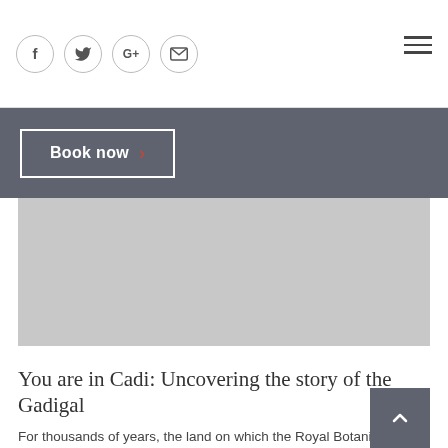[Figure (other): Social media share icons: Facebook (f), Twitter (bird), Google+ (G+), Email (envelope), and hamburger menu icon on the right]
Book now ›
[Figure (photo): Gray placeholder image area for an article photo]
You are in Cadi: Uncovering the story of the Gadigal
For thousands of years, the land on which the Royal Botanic Garden Sydney stands has belonged first and foremost to the Aboriginal